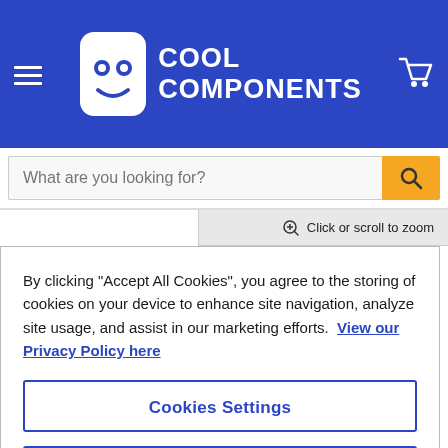[Figure (screenshot): Cool Components website header with blue background, hamburger menu icon on left, Cool Components logo (robot face icon with rounded rectangle and text 'COOL COMPONENTS') in center, shopping cart icon on right]
What are you looking for?
Click or scroll to zoom
By clicking "Accept All Cookies", you agree to the storing of cookies on your device to enhance site navigation, analyze site usage, and assist in our marketing efforts.  View our Privacy Policy here
Cookies Settings
Reject All
Accept All Cookies